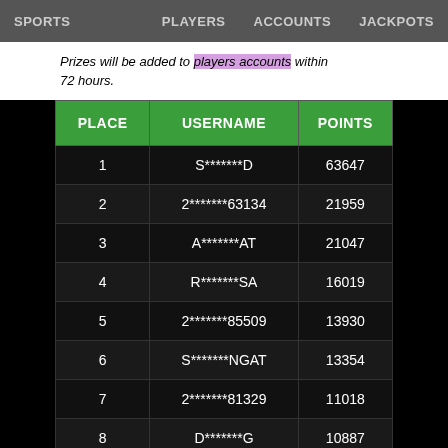SPORTS  Prizes will be added to players accounts within 72 hours.  PLAYERS  ACCOUNTS  JACKPOTS
Prizes will be added to players accounts within 72 hours.
| PLACE | USERNAME | POINTS |
| --- | --- | --- |
| 1 | S*******D | 63647 |
| 2 | 2*******63134 | 21959 |
| 3 | A*******AT | 21047 |
| 4 | R*******SA | 16019 |
| 5 | 2*******85509 | 13930 |
| 6 | S*******NGAT | 13354 |
| 7 | 2*******81329 | 11018 |
| 8 | D*******G | 10887 |
| 9 | 2*******87878 | 8967 |
| 10 | 2*******51478 | 8620 |
| 11 | 2*******57069 | 7952 |